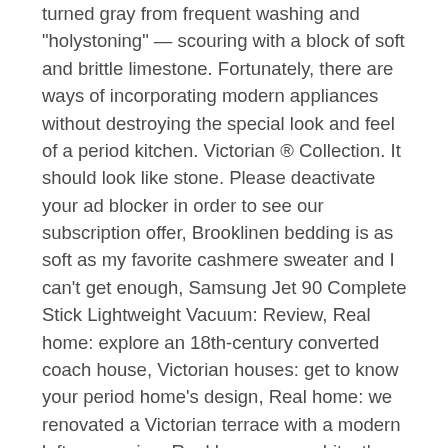turned gray from frequent washing and "holystoning" — scouring with a block of soft and brittle limestone. Fortunately, there are ways of incorporating modern appliances without destroying the special look and feel of a period kitchen. Victorian ® Collection. It should look like stone. Please deactivate your ad blocker in order to see our subscription offer, Brooklinen bedding is as soft as my favorite cashmere sweater and I can't get enough, Samsung Jet 90 Complete Stick Lightweight Vacuum: Review, Real home: explore an 18th-century converted coach house, Victorian houses: get to know your period home's design, Real home: we renovated a Victorian terrace with a modern loft conversion, Real home: an architect's Victorian house renovation, Real home: a colourful and creative Victorian house, Real home: explore this immaculately restored Georgian home, How old is my house? Vary the leg styles as well, for the same purpose. This 8,145 square foot house sits on a 0.49 acre lot and features 6 bedrooms and 6 bathrooms. These